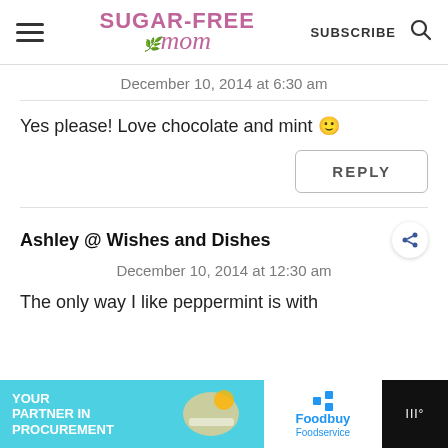Sugar-Free Mom — SUBSCRIBE
December 10, 2014 at 6:30 am
Yes please! Love chocolate and mint 🙂
REPLY
Ashley @ Wishes and Dishes
December 10, 2014 at 12:30 am
The only way I like peppermint is with
[Figure (screenshot): Advertisement banner for Foodbuy Foodservice – YOUR PARTNER IN PROCUREMENT]